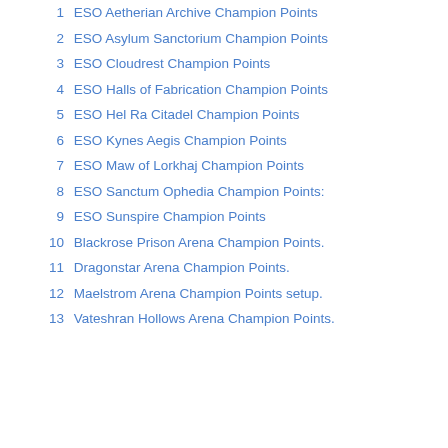1  ESO Aetherian Archive Champion Points
2  ESO Asylum Sanctorium Champion Points
3  ESO Cloudrest Champion Points
4  ESO Halls of Fabrication Champion Points
5  ESO Hel Ra Citadel Champion Points
6  ESO Kynes Aegis Champion Points
7  ESO Maw of Lorkhaj Champion Points
8  ESO Sanctum Ophedia Champion Points:
9  ESO Sunspire Champion Points
10  Blackrose Prison Arena Champion Points.
11  Dragonstar Arena Champion Points.
12  Maelstrom Arena Champion Points setup.
13  Vateshran Hollows Arena Champion Points.